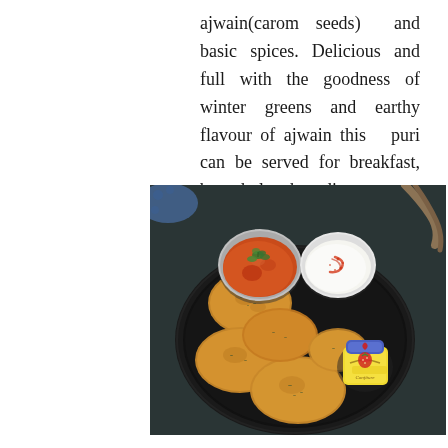ajwain(carom seeds) and basic spices. Delicious and full with the goodness of winter greens and earthy flavour of ajwain this puri can be served for breakfast, brunch, lunch or dinner.
[Figure (photo): A black tart pan/plate holding several golden-brown puris (fried Indian flatbreads with herbs), accompanied by a small metal bowl of orange-red curry topped with fresh coriander, a small white bowl of yogurt sprinkled with red chili powder, and a decorative jar of confiture with a blue and white lid, all arranged on a dark surface with a rope visible in the top-right corner.]